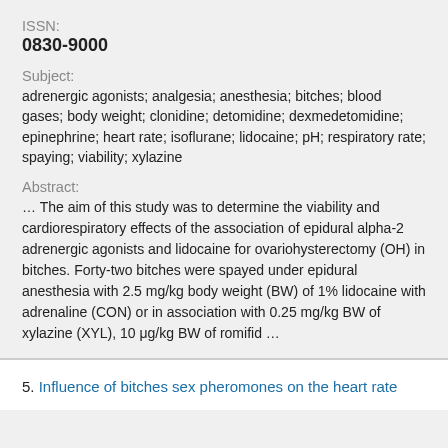ISSN:
0830-9000
Subject:
adrenergic agonists; analgesia; anesthesia; bitches; blood gases; body weight; clonidine; detomidine; dexmedetomidine; epinephrine; heart rate; isoflurane; lidocaine; pH; respiratory rate; spaying; viability; xylazine
Abstract:
… The aim of this study was to determine the viability and cardiorespiratory effects of the association of epidural alpha-2 adrenergic agonists and lidocaine for ovariohysterectomy (OH) in bitches. Forty-two bitches were spayed under epidural anesthesia with 2.5 mg/kg body weight (BW) of 1% lidocaine with adrenaline (CON) or in association with 0.25 mg/kg BW of xylazine (XYL), 10 μg/kg BW of romifid …
5. Influence of bitches sex pheromones on the heart rate